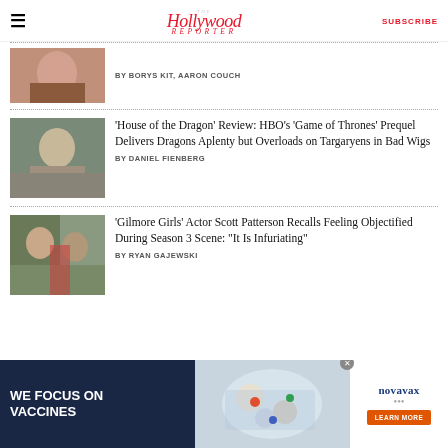The Hollywood Reporter — SUBSCRIBE
BY BORYS KIT, AARON COUCH
'House of the Dragon' Review: HBO's 'Game of Thrones' Prequel Delivers Dragons Aplenty but Overloads on Targaryens in Bad Wigs
BY DANIEL FIENBERG
'Gilmore Girls' Actor Scott Patterson Recalls Feeling Objectified During Season 3 Scene: "It Is Infuriating"
BY RYAN GAJEWSKI
[Figure (infographic): Novavax advertisement: 'WE FOCUS ON VACCINES' with Novavax logo and 'LEARN MORE' button, showing scientists/doctors working at a table]